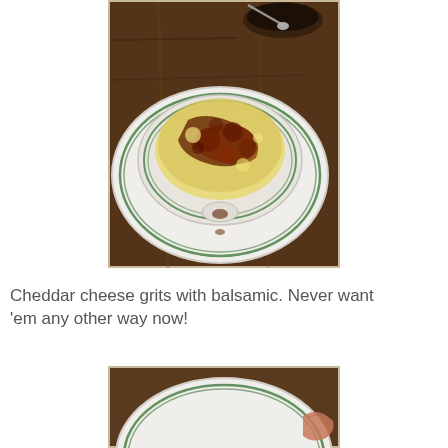[Figure (photo): A bowl of cheddar cheese grits with balsamic drizzle on a white plate with green stripe rim, on a wooden table. Another dish with spoon visible in background.]
Cheddar cheese grits with balsamic. Never want 'em any other way now!
[Figure (photo): Partial view of a white plate with green stripe rim, similar to the first photo, cropped at bottom of page.]